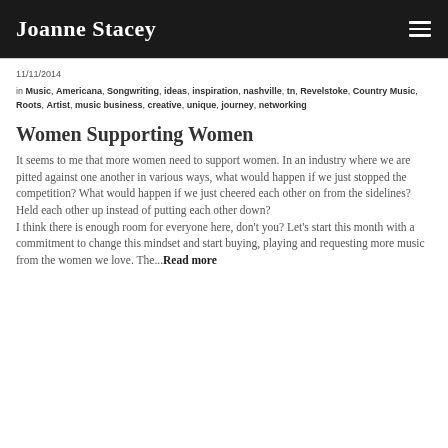Joanne Stacey
11/11/2014
in Music, Americana, Songwriting, ideas, inspiration, nashville, tn, Revelstoke, Country Music, Roots, Artist, music business, creative, unique, journey, networking
Women Supporting Women
It seems to me that more women need to support women. In an industry where we are pitted against one another in various ways, what would happen if we just stopped the competition? What would happen if we just cheered each other on from the sidelines? Held each other up instead of putting each other down?
I think there is enough room for everyone here, don't you? Let's start this month with a commitment to change this mindset and start buying, playing and requesting more music from the women we love. The... Read more